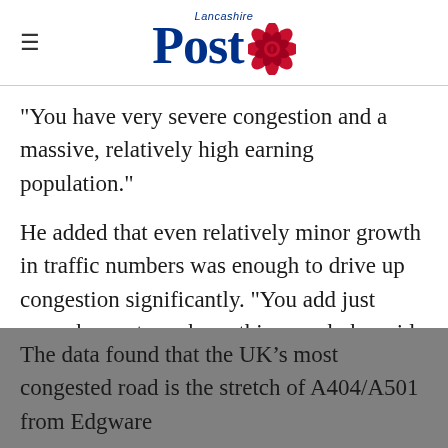Lancashire Post
"You have very severe congestion and a massive, relatively high earning population."
He added that even relatively minor growth in traffic numbers was enough to drive up congestion significantly. "You add just enough cars to make nothing work, he said. “Sometimes you add one or two per cent more cars, and it causes a vicious cycle of congestion to set in."
The data found that the UK’s most congested road is the stretch of A404/A501 from Edgware